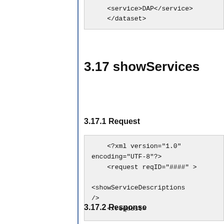<service>DAP</service>
</dataset>
3.17 showServices
3.17.1 Request
<?xml version="1.0" encoding="UTF-8"?>
<request reqID="####" >

<showServiceDescriptions
/>
    </request>
3.17.2 Response